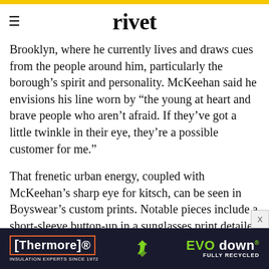rivet
Brooklyn, where he currently lives and draws cues from the people around him, particularly the borough’s spirit and personality. McKeehan said he envisions his line worn by “the young at heart and brave people who aren’t afraid. If they’ve got a little twinkle in their eye, they’re a possible customer for me.”
That frenetic urban energy, coupled with McKeehan’s sharp eye for kitsch, can be seen in Boyswear’s custom prints. Notable pieces include a short-sleeve button-up in a sunglasses print detailed with expressive scribbling, and a sweater that reads “So
[Figure (other): Advertisement banner for Thermore and EVO down insulation products. Dark navy background with orange-bordered Thermore logo on left, recycling icon in center, and green/white EVO down text on right with 'FULLY RECYCLED' tagline.]